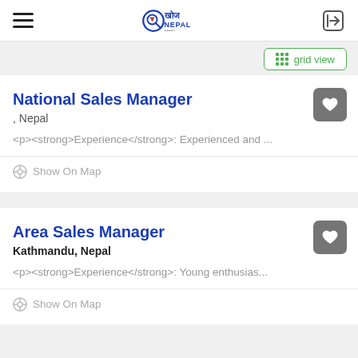KhojNepal logo with hamburger menu and login icon
grid view
National Sales Manager
, Nepal
<p><strong>Experience</strong>: Experienced and ...
Show On Map
Area Sales Manager
Kathmandu, Nepal
<p><strong>Experience</strong>: Young enthusias...
Show On Map